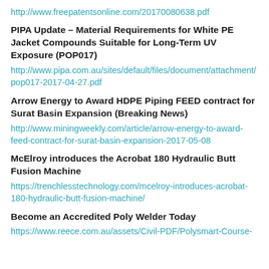http://www.freepatentsonline.com/20170080638.pdf
PIPA Update – Material Requirements for White PE Jacket Compounds Suitable for Long-Term UV Exposure (POP017)
http://www.pipa.com.au/sites/default/files/document/attachment/pop017-2017-04-27.pdf
Arrow Energy to Award HDPE Piping FEED contract for Surat Basin Expansion (Breaking News)
http://www.miningweekly.com/article/arrow-energy-to-award-feed-contract-for-surat-basin-expansion-2017-05-08
McElroy introduces the Acrobat 180 Hydraulic Butt Fusion Machine
https://trenchlesstechnology.com/mcelroy-introduces-acrobat-180-hydraulic-butt-fusion-machine/
Become an Accredited Poly Welder Today
https://www.reece.com.au/assets/Civil-PDF/Polysmart-Course-